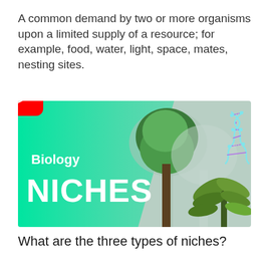A common demand by two or more organisms upon a limited supply of a resource; for example, food, water, light, space, mates, nesting sites.
[Figure (screenshot): YouTube video thumbnail titled 'Biology NICHES' showing a forest scene with a large tree, a tropical plant, and a DNA helix graphic on the right. A red YouTube play button is centered over the image. The left portion has a green gradient background with white bold text reading 'Biology' and 'NICHES'.]
What are the three types of niches?